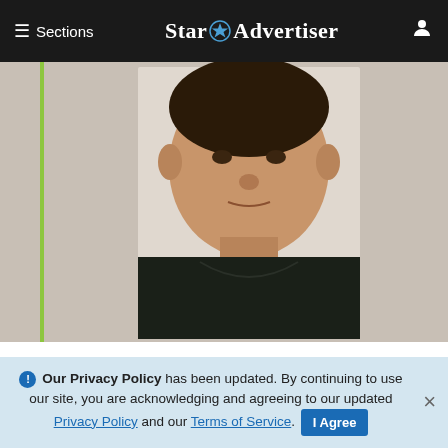≡ Sections  Star Advertiser
[Figure (photo): Mugshot of a young man in a dark shirt against a light background, with a green vertical bar on the left side]
Man found guilty in fatal stabbing of California visitor in Waikiki
An Oahu Circuit Court jury on Friday found a 23-year-old Waikiki man guilty of second-degree murder in th...
Star-Advertiser
❶ Our Privacy Policy has been updated. By continuing to use our site, you are acknowledging and agreeing to our updated Privacy Policy and our Terms of Service. I Agree